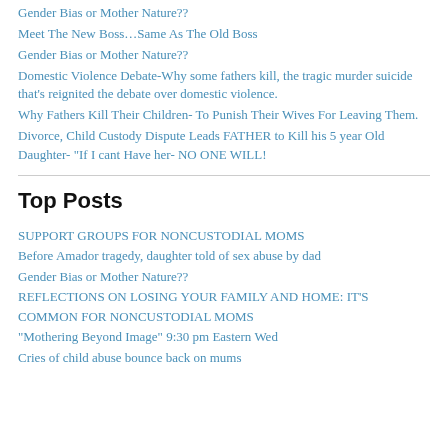Gender Bias or Mother Nature??
Meet The New Boss…Same As The Old Boss
Gender Bias or Mother Nature??
Domestic Violence Debate-Why some fathers kill, the tragic murder suicide that's reignited the debate over domestic violence.
Why Fathers Kill Their Children- To Punish Their Wives For Leaving Them.
Divorce, Child Custody Dispute Leads FATHER to Kill his 5 year Old Daughter- "If I cant Have her- NO ONE WILL!
Top Posts
SUPPORT GROUPS FOR NONCUSTODIAL MOMS
Before Amador tragedy, daughter told of sex abuse by dad
Gender Bias or Mother Nature??
REFLECTIONS ON LOSING YOUR FAMILY AND HOME: IT'S COMMON FOR NONCUSTODIAL MOMS
"Mothering Beyond Image" 9:30 pm Eastern Wed
Cries of child abuse bounce back on mums